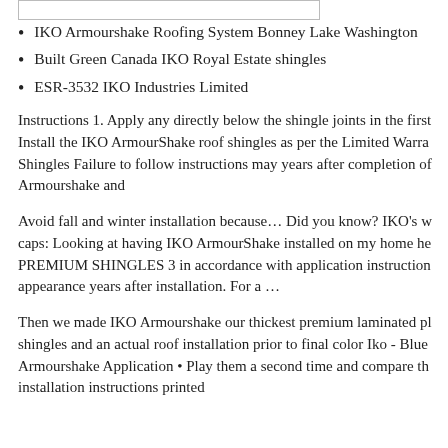IKO Armourshake Roofing System Bonney Lake Washington
Built Green Canada IKO Royal Estate shingles
ESR-3532 IKO Industries Limited
Instructions 1. Apply any directly below the shingle joints in the first Install the IKO ArmourShake roof shingles as per the Limited Warra Shingles Failure to follow instructions may years after completion of Armourshake and
Avoid fall and winter installation because… Did you know? IKO's w caps: Looking at having IKO ArmourShake installed on my home he PREMIUM SHINGLES 3 in accordance with application instruction appearance years after installation. For a …
Then we made IKO Armourshake our thickest premium laminated pl shingles and an actual roof installation prior to final color Iko - Blue Armourshake Application • Play them a second time and compare th installation instructions printed